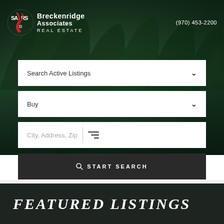Breckenridge Associates REAL ESTATE | (970) 453-2200
Search Active Listings
Buy
City, Address, Zip
START SEARCH
FEATURED LISTINGS